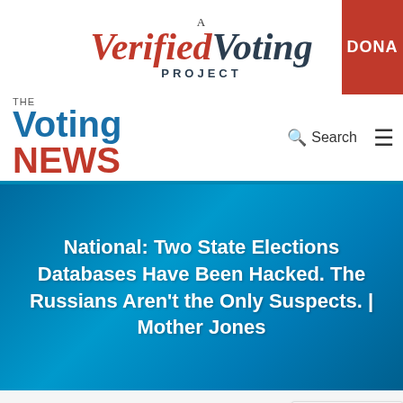[Figure (logo): A Verified Voting Project logo with red italic 'Verified' text and dark 'Voting' text, and a red 'DONATE' button on the right]
[Figure (logo): The Voting News logo with blue 'Voting' and red 'NEWS' text, navigation bar with Search icon and hamburger menu]
National: Two State Elections Databases Have Been Hacked. The Russians Aren't the Only Suspects. | Mother Jones
[Figure (logo): reCAPTCHA widget showing the reCAPTCHA logo with Privacy and Terms links]